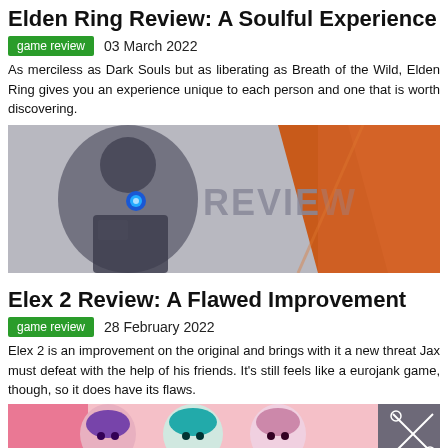Elden Ring Review: A Soulful Experience
game review   03 March 2022
As merciless as Dark Souls but as liberating as Breath of the Wild, Elden Ring gives you an experience unique to each person and one that is worth discovering.
[Figure (screenshot): Promotional review image for Elex 2 featuring a sci-fi armored character on the left with glowing blue eye and the word REVIEW in large grey letters on a light background, with an orange diagonal panel on the right.]
Elex 2 Review: A Flawed Improvement
game review   28 February 2022
Elex 2 is an improvement on the original and brings with it a new threat Jax must defeat with the help of his friends. It's still feels like a eurojank game, though, so it does have its flaws.
[Figure (illustration): Anime-style illustration showing colorful female characters in the bottom portion of the page.]